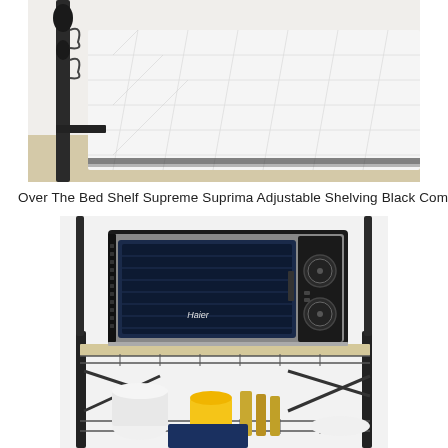[Figure (photo): Photo of a metal bed frame with white quilted bedding/mattress pad, showing the corner of the bed with black metal frame posts]
Over The Bed Shelf Supreme Suprima Adjustable Shelving Black Com
[Figure (photo): Photo of a Haier microwave oven sitting on a wire metal shelving unit/rack. The shelf has items stored on the lower level including what appears to be a yellow container and other kitchen items.]